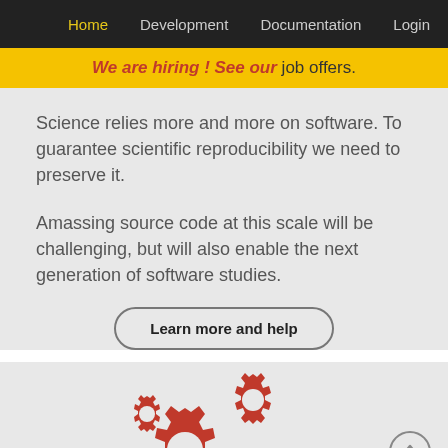Home  Development  Documentation  Login
We are hiring ! See our job offers.
Science relies more and more on software. To guarantee scientific reproducibility we need to preserve it.
Amassing source code at this scale will be challenging, but will also enable the next generation of software studies.
Learn more and help
[Figure (illustration): Red gear icons (three interlocking cogs) representing software/engineering, partially visible at bottom of page. A circular up-arrow navigation button is in the bottom right corner.]